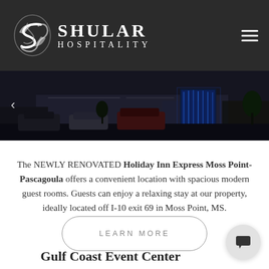Shular Hospitality
[Figure (photo): Night-time exterior photo of Holiday Inn Express Moss Point-Pascagoula hotel with illuminated blue water feature and parked cars]
The NEWLY RENOVATED Holiday Inn Express Moss Point-Pascagoula offers a convenient location with spacious modern guest rooms. Guests can enjoy a relaxing stay at our property, ideally located off I-10 exit 69 in Moss Point, MS.
LEARN MORE
Gulf Coast Event Center